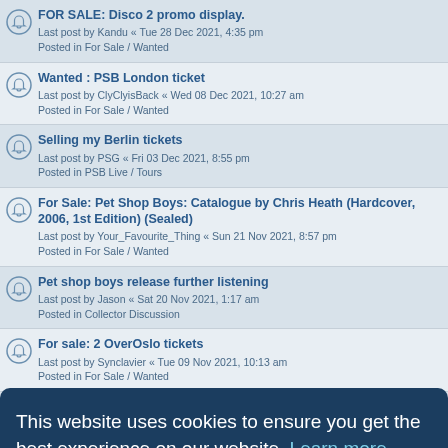FOR SALE: Disco 2 promo display.
Last post by Kandu « Tue 28 Dec 2021, 4:35 pm
Posted in For Sale / Wanted
Wanted : PSB London ticket
Last post by ClyClyisBack « Wed 08 Dec 2021, 10:27 am
Posted in For Sale / Wanted
Selling my Berlin tickets
Last post by PSG « Fri 03 Dec 2021, 8:55 pm
Posted in PSB Live / Tours
For Sale: Pet Shop Boys: Catalogue by Chris Heath (Hardcover, 2006, 1st Edition) (Sealed)
Last post by Your_Favourite_Thing « Sun 21 Nov 2021, 8:57 pm
Posted in For Sale / Wanted
Pet shop boys release further listening
Last post by Jason « Sat 20 Nov 2021, 1:17 am
Posted in Collector Discussion
For sale: 2 OverOslo tickets
Last post by Synclavier « Tue 09 Nov 2021, 10:13 am
Posted in For Sale / Wanted
Perfect Moment
(partially obscured)
Tour Programme
(partially obscured)
Can you Forgive her? Synths.
Last post by 80Snostalgia « Fri 03 Sep 2021, 8:54 pm
This website uses cookies to ensure you get the best experience on our website. Learn more
Got it!